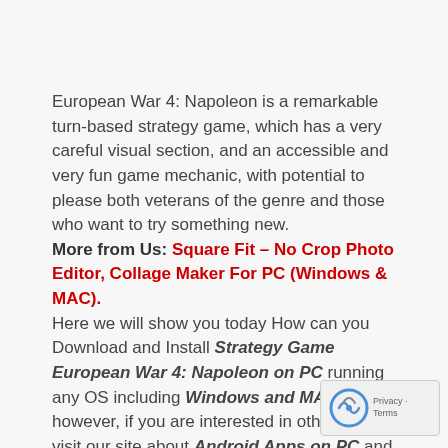European War 4: Napoleon is a remarkable turn-based strategy game, which has a very careful visual section, and an accessible and very fun game mechanic, with potential to please both veterans of the genre and those who want to try something new.
More from Us: Square Fit – No Crop Photo Editor, Collage Maker For PC (Windows & MAC).
Here we will show you today How can you Download and Install Strategy Game European War 4: Napoleon on PC running any OS including Windows and MAC variants, however, if you are interested in other apps, visit our site about Android Apps on PC and